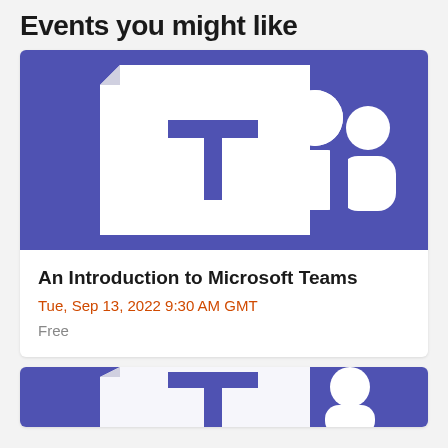Events you might like
[Figure (logo): Microsoft Teams logo on purple/blue background — white folded document with purple T letter on left half, people/users icon on right half]
An Introduction to Microsoft Teams
Tue, Sep 13, 2022 9:30 AM GMT
Free
[Figure (logo): Second event card partially visible at bottom — Microsoft Teams logo on purple/blue background]